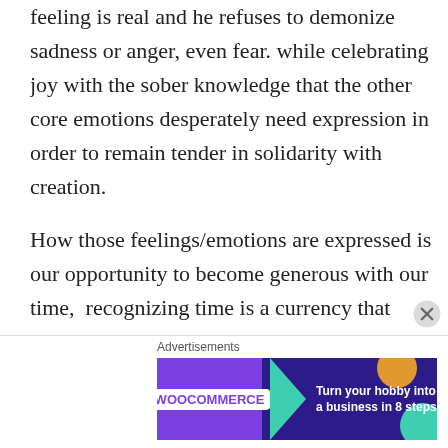feeling is real and he refuses to demonize sadness or anger, even fear. while celebrating joy with the sober knowledge that the other core emotions desperately need expression in order to remain tender in solidarity with creation.

How those feelings/emotions are expressed is our opportunity to become generous with our time,  recognizing time is a currency that none of us can buy more of. We can’t work harder or
Advertisements
[Figure (other): WooCommerce advertisement banner: 'Turn your hobby into a business in 8 steps' on a dark purple background with teal arrow shape and decorative blobs.]